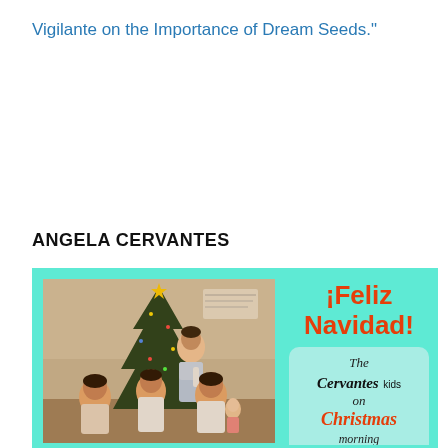Vigilante on the Importance of Dream Seeds."
ANGELA CERVANTES
[Figure (photo): Left side: vintage photograph of the Cervantes kids sitting and standing in front of a Christmas tree, holding toys and dolls. Right side: teal card with red bold text 'iFeliz Navidad!' and a rounded rectangle inset reading 'The Cervantes kids on Christmas morning' in script and italic fonts.]